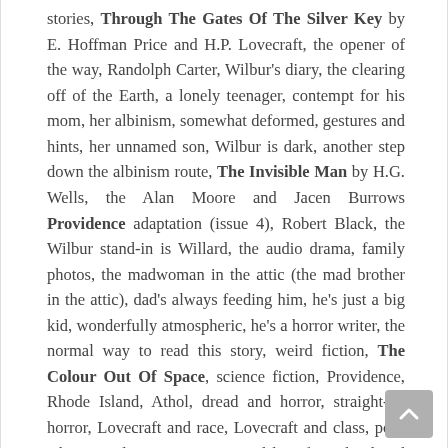stories, Through The Gates Of The Silver Key by E. Hoffman Price and H.P. Lovecraft, the opener of the way, Randolph Carter, Wilbur's diary, the clearing off of the Earth, a lonely teenager, contempt for his mom, her albinism, somewhat deformed, gestures and hints, her unnamed son, Wilbur is dark, another step down the albinism route, The Invisible Man by H.G. Wells, the Alan Moore and Jacen Burrows Providence adaptation (issue 4), Robert Black, the Wilbur stand-in is Willard, the audio drama, family photos, the madwoman in the attic (the mad brother in the attic), dad's always feeding him, he's just a big kid, wonderfully atmospheric, he's a horror writer, the normal way to read this story, weird fiction, The Colour Out Of Space, science fiction, Providence, Rhode Island, Athol, dread and horror, straight-up horror, Lovecraft and race, Lovecraft and class, poor white people are monstrous and horrific, inbred and weak, a fun Malcolm Gladwell piece, To Kill A Mockingbird demonized poor white folk, Trump-